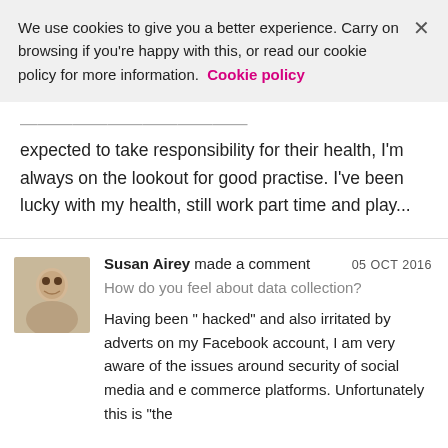We use cookies to give you a better experience. Carry on browsing if you're happy with this, or read our cookie policy for more information. Cookie policy
expected to take responsibility for their health, I'm always on the lookout for good practise. I've been lucky with my health, still work part time and play...
Susan Airey made a comment 05 OCT 2016
How do you feel about data collection?
Having been " hacked" and also irritated by adverts on my Facebook account, I am very aware of the issues around security of social media and e commerce platforms. Unfortunately this is "the